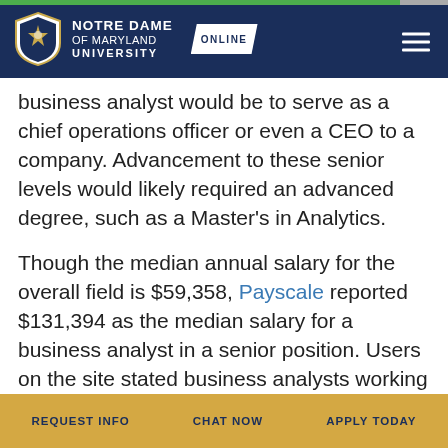Notre Dame of Maryland University Online
business analyst would be to serve as a chief operations officer or even a CEO to a company. Advancement to these senior levels would likely required an advanced degree, such as a Master's in Analytics.
Though the median annual salary for the overall field is $59,358, Payscale reported $131,394 as the median salary for a business analyst in a senior position. Users on the site stated business analysts working for Target average between $55,00 – $60,000 a year; at Cisco Systems, between $44,000 – $87,000; and Amazon at
REQUEST INFO   CHAT NOW   APPLY TODAY